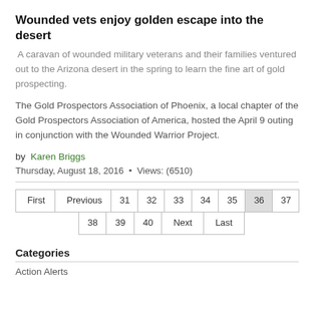Wounded vets enjoy golden escape into the desert
A caravan of wounded military veterans and their families ventured out to the Arizona desert in the spring to learn the fine art of gold prospecting.
The Gold Prospectors Association of Phoenix, a local chapter of the Gold Prospectors Association of America, hosted the April 9 outing in conjunction with the Wounded Warrior Project.
by Karen Briggs
Thursday, August 18, 2016 • Views: (6510)
First Previous 31 32 33 34 35 36 37 38 39 40 Next Last
Categories
Action Alerts